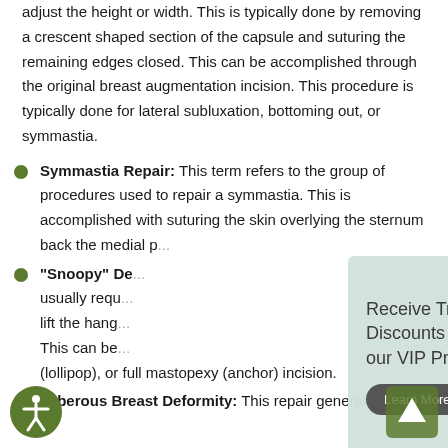adjust the height or width. This is typically done by removing a crescent shaped section of the capsule and suturing the remaining edges closed. This can be accomplished through the original breast augmentation incision. This procedure is typically done for lateral subluxation, bottoming out, or symmastia.
Symmastia Repair: This term refers to the group of procedures used to repair a symmastia. This is accomplished with suturing the skin overlying the sternum bac[...] the medial p[...]
"Snoopy" De[...] usually requ[...] lift the hang[...] This can be [...] (lollipop), or full mastopexy (anchor) incision.
Tuberous Breast Deformity: This repair generally
[Figure (other): Popup advertisement overlay: 'Receive Treatment Discounts through our VIP Program!' with a 'Learn More →' button and a photo of a smiling woman with long brown hair.]